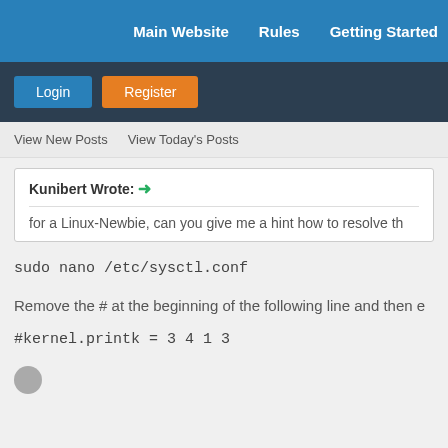Main Website   Rules   Getting Started
Login   Register
View New Posts   View Today's Posts
Kunibert Wrote: →
for a Linux-Newbie, can you give me a hint how to resolve th
sudo nano /etc/sysctl.conf
Remove the # at the beginning of the following line and then e
#kernel.printk = 3 4 1 3